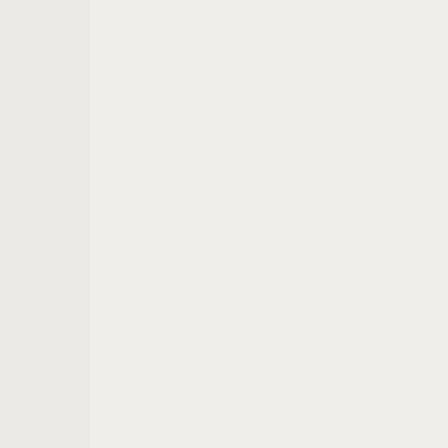Earth's would be 9.4 km/s, whereas some other near-Earth asteroids require less than 4 km/s